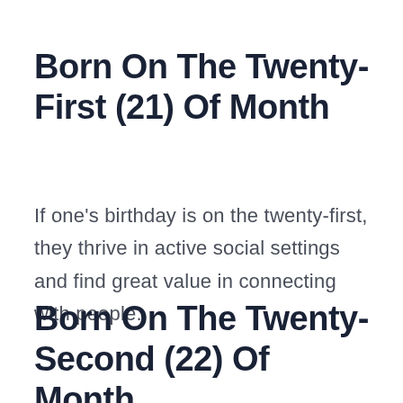Born On The Twenty-First (21) Of Month
If one’s birthday is on the twenty-first, they thrive in active social settings and find great value in connecting with people.
Born On The Twenty-Second (22) Of Month